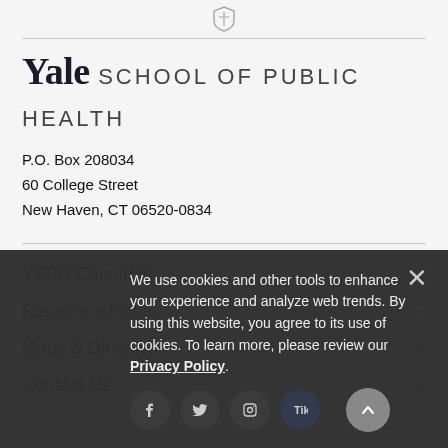[Figure (logo): Yale shield logo icon at top center]
Yale SCHOOL OF PUBLIC HEALTH
P.O. Box 208034
60 College Street
New Haven, CT 06520-0834
YSPH Calendar →
Reserve a Room →
Maps & Directions →
Contact Us →
We use cookies and other tools to enhance your experience and analyze web trends. By using this website, you agree to its use of cookies. To learn more, please review our Privacy Policy.